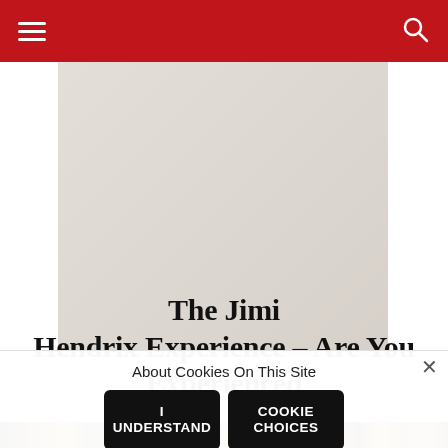Navigation header with hamburger menu and search icon
[Figure (photo): Album cover image of The Jimi Hendrix Experience - Are You Experienced, showing a faded/light toned square artwork]
The Jimi Hendrix Experience – Are You Experienced
[Figure (photo): Colorful graffiti/text strip image at bottom of content area]
About Cookies On This Site
I UNDERSTAND
COOKIE CHOICES